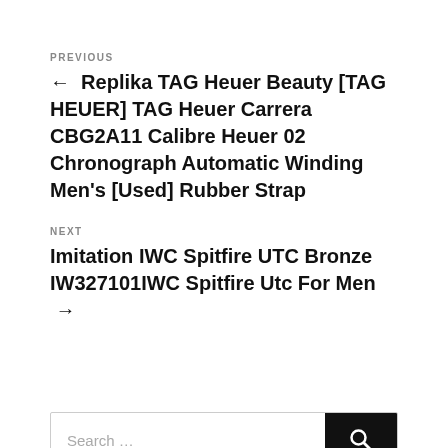PREVIOUS
← Replika TAG Heuer Beauty [TAG HEUER] TAG Heuer Carrera CBG2A11 Calibre Heuer 02 Chronograph Automatic Winding Men's [Used] Rubber Strap
NEXT
Imitation IWC Spitfire UTC Bronze IW327101IWC Spitfire Utc For Men →